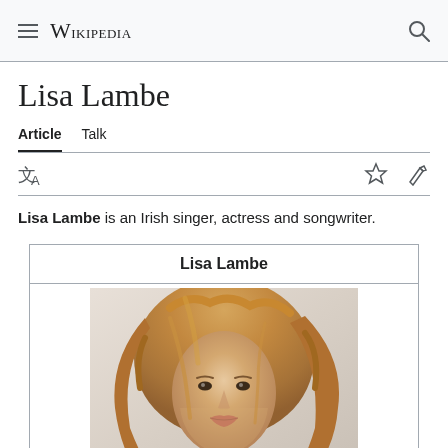Wikipedia
Lisa Lambe
Article   Talk
Lisa Lambe is an Irish singer, actress and songwriter.
[Figure (photo): Wikipedia infobox with title 'Lisa Lambe' and a photo of Lisa Lambe, a woman with long wavy reddish-blonde hair.]